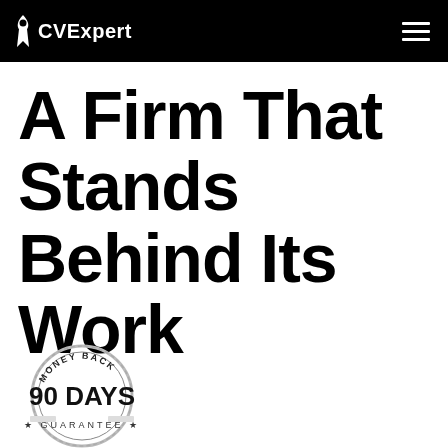CVExpert
A Firm That Stands Behind Its Work
[Figure (logo): Money Back 90 Days Guarantee circular badge/seal]